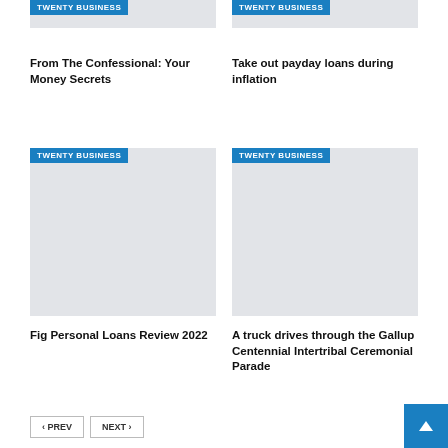[Figure (photo): Gray placeholder thumbnail with TWENTY BUSINESS badge, top-left card, top row]
[Figure (photo): Gray placeholder thumbnail with TWENTY BUSINESS badge, top-right card, top row]
From The Confessional: Your Money Secrets
Take out payday loans during inflation
[Figure (photo): Gray placeholder thumbnail with TWENTY BUSINESS badge, bottom-left card]
[Figure (photo): Gray placeholder thumbnail with TWENTY BUSINESS badge, bottom-right card]
Fig Personal Loans Review 2022
A truck drives through the Gallup Centennial Intertribal Ceremonial Parade
‹ PREV   NEXT ›